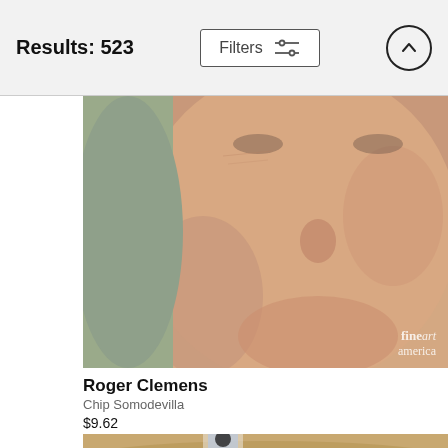Results: 523
[Figure (photo): Close-up photo of Roger Clemens face with fine art america watermark]
Roger Clemens
Chip Somodevilla
$9.62
[Figure (photo): Baseball player sliding on dirt field, partially visible at bottom of page]